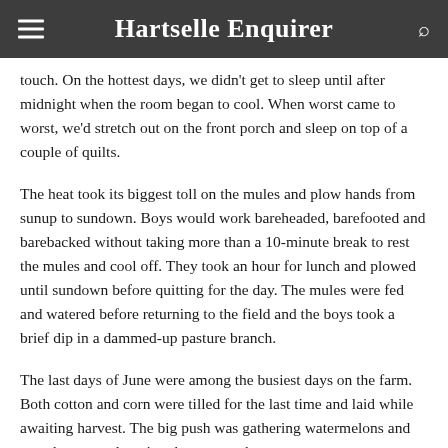Hartselle Enquirer
touch. On the hottest days, we didn't get to sleep until after midnight when the room began to cool. When worst came to worst, we'd stretch out on the front porch and sleep on top of a couple of quilts.
The heat took its biggest toll on the mules and plow hands from sunup to sundown. Boys would work bareheaded, barefooted and barebacked without taking more than a 10-minute break to rest the mules and cool off. They took an hour for lunch and plowed until sundown before quitting for the day. The mules were fed and watered before returning to the field and the boys took a brief dip in a dammed-up pasture branch.
The last days of June were among the busiest days on the farm. Both cotton and corn were tilled for the last time and laid while awaiting harvest. The big push was gathering watermelons and cantaloupes and getting them to market.
The canning and preservation of peaches, apples, berries and beans continued into the hot days of July and August with much